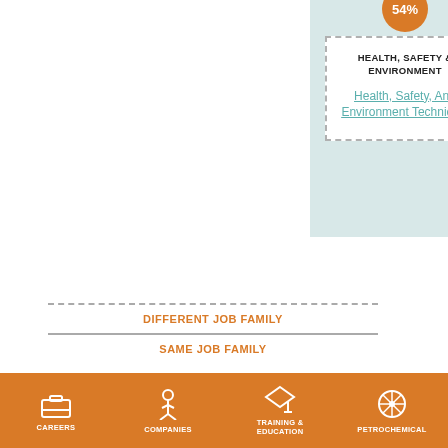[Figure (infographic): Card with 54% orange circle badge at top, showing HEALTH, SAFETY & ENVIRONMENT category and a link titled Health, Safety, And Environment Technician inside a dashed border box on a light teal background]
DIFFERENT JOB FAMILY
SAME JOB FAMILY
[Figure (infographic): Orange footer navigation bar with four icons and labels: CAREERS, COMPANIES, TRAINING & EDUCATION, PETROCHEMICAL]